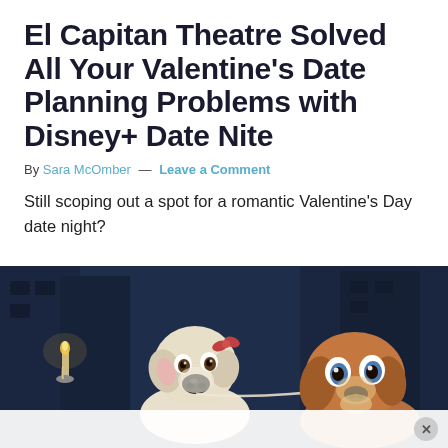El Capitan Theatre Solved All Your Valentine's Date Planning Problems with Disney+ Date Nite
By Sara McOmber — Leave a Comment
Still scoping out a spot for a romantic Valentine's Day date night?
[Figure (illustration): Scene from Lady and the Tramp animated movie showing two animated dogs sharing a strand of spaghetti by candlelight in a dark alleyway setting; a white/cream dog on the left and a brown/tan dog on the right.]